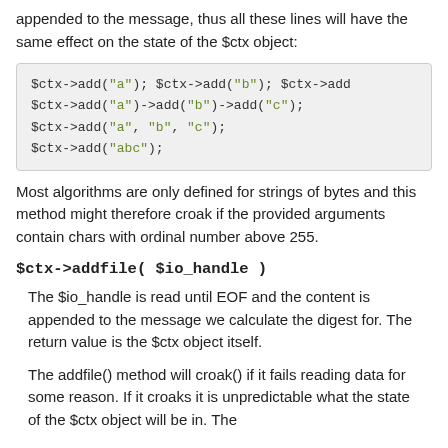appended to the message, thus all these lines will have the same effect on the state of the $ctx object:
$ctx->add("a"); $ctx->add("b"); $ctx->add...
$ctx->add("a")->add("b")->add("c");
$ctx->add("a", "b", "c");
$ctx->add("abc");
Most algorithms are only defined for strings of bytes and this method might therefore croak if the provided arguments contain chars with ordinal number above 255.
$ctx->addfile( $io_handle )
The $io_handle is read until EOF and the content is appended to the message we calculate the digest for. The return value is the $ctx object itself.
The addfile() method will croak() if it fails reading data for some reason. If it croaks it is unpredictable what the state of the $ctx object will be in. The